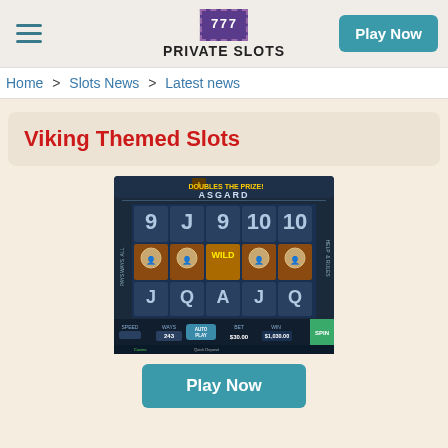PRIVATE SLOTS — Play Now
Home > Slots News > Latest news
Viking Themed Slots
[Figure (screenshot): Screenshot of the Asgard slot machine game showing reels with Viking-themed symbols, text 'DOUBLES THE PRIZE! ASGARD', WAYS 243, BET $30.00, WIN $1,030.00, SPIN button.]
Play Now